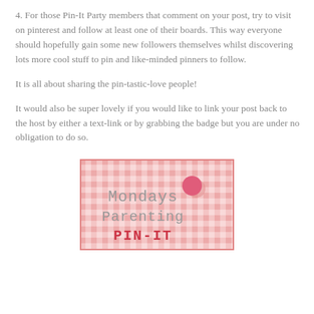4. For those Pin-It Party members that comment on your post, try to visit on pinterest and follow at least one of their boards. This way everyone should hopefully gain some new followers themselves whilst discovering lots more cool stuff to pin and like-minded pinners to follow.
It is all about sharing the pin-tastic-love people!
It would also be super lovely if you would like to link your post back to the host by either a text-link or by grabbing the badge but you are under no obligation to do so.
[Figure (illustration): Mondays Parenting PIN-IT badge with pink gingham/checkered background pattern, text in grey and red typewriter font, and a pink pin/circle decoration in upper right area.]